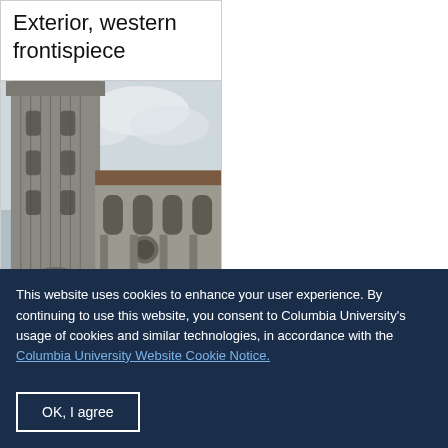Exterior, western frontispiece
[Figure (photo): Photograph of a Gothic cathedral exterior showing a tall ornate tower and side nave with stone tracery windows, arches, and buttresses under a cloudy sky]
This website uses cookies to enhance your user experience. By continuing to use this website, you consent to Columbia University's usage of cookies and similar technologies, in accordance with the Columbia University Website Cookie Notice.
OK, I agree